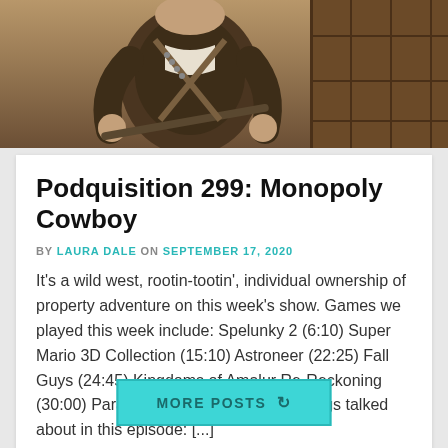[Figure (photo): A cowboy-themed character in leather outfit, western setting with wooden background]
Podquisition 299: Monopoly Cowboy
BY LAURA DALE ON SEPTEMBER 17, 2020
It’s a wild west, rootin-tootin’, individual ownership of property adventure on this week’s show. Games we played this week include: Spelunky 2 (6:10) Super Mario 3D Collection (15:10) Astroneer (22:25) Fall Guys (24:45) Kingdoms of Amalur Re-Reckoning (30:00) Paradise Killer (31:35) News things talked about in this episode: [...]
MORE POSTS